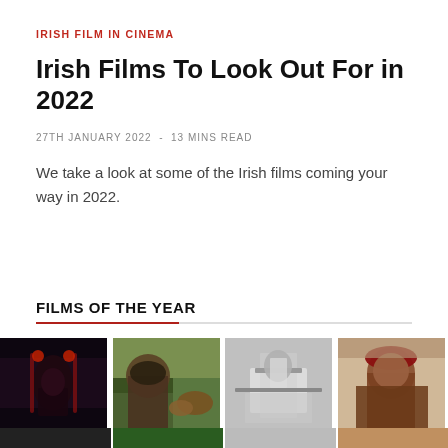IRISH FILM IN CINEMA
Irish Films To Look Out For in 2022
27TH JANUARY 2022  -  13 MINS READ
We take a look at some of the Irish films coming your way in 2022.
FILMS OF THE YEAR
[Figure (photo): Grid of four film thumbnail images showing stills from various Irish films]
[Figure (photo): Partial second row of film thumbnail images]